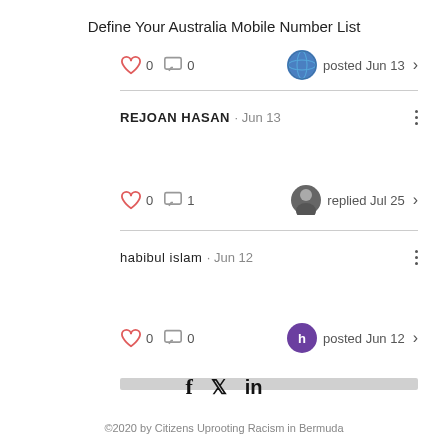Define Your Australia Mobile Number List
0  0  posted Jun 13
REJOAN HASAN · Jun 13
0  1  replied Jul 25
habibul islam · Jun 12
0  0  posted Jun 12
f  𝕏  in
©2020 by Citizens Uprooting Racism in Bermuda